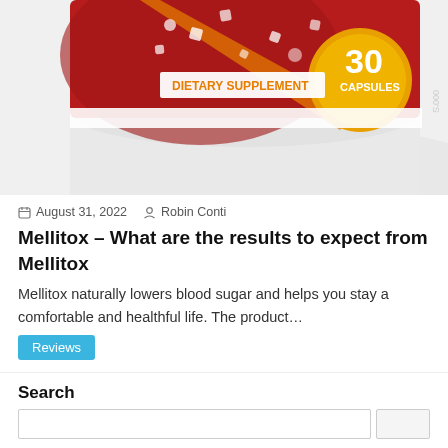[Figure (photo): Mellitox dietary supplement bottle, red label, showing '30 CAPSULES' and 'DIETARY SUPPLEMENT' text. The bottom portion of the bottle is visible against a white background.]
August 31, 2022   Robin Conti
Mellitox – What are the results to expect from Mellitox
Mellitox naturally lowers blood sugar and helps you stay a comfortable and healthful life. The product...
Reviews
Search